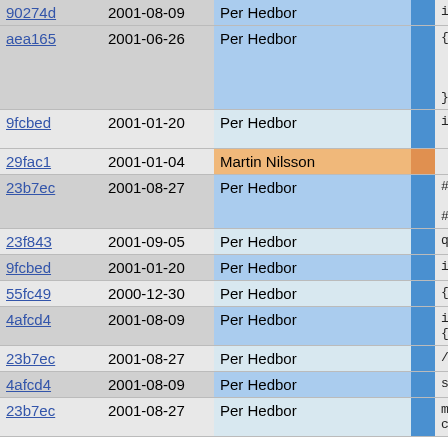| Hash | Date | Author |  | Code |
| --- | --- | --- | --- | --- |
| 90274d | 2001-08-09 | Per Hedbor | | | if( ui |
| aea165 | 2001-06-26 | Per Hedbor | | | {
    User
    if(
        re
} |
| 9fcbed | 2001-01-20 | Per Hedbor | | | if( rs
    retu |
| 29fac1 | 2001-01-04 | Martin Nilsson | | |  |
| 23b7ec | 2001-08-27 | Per Hedbor | | | #ifdef ARG
    werr
#endif |
| 23f843 | 2001-09-05 | Per Hedbor | | | q = QU |
| 9fcbed | 2001-01-20 | Per Hedbor | | | if( si |
| 55fc49 | 2000-12-30 | Per Hedbor | | | { |
| 4afcd4 | 2001-08-09 | Per Hedbor | | | if(
{ |
| 23b7ec | 2001-08-27 | Per Hedbor | | | // |
| 4afcd4 | 2001-08-09 | Per Hedbor | | | st |
| 23b7ec | 2001-08-27 | Per Hedbor | | | ma
ca |